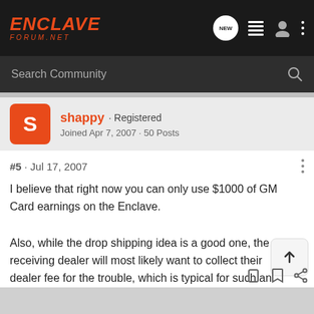[Figure (screenshot): Enclave Forum.net logo in top navigation bar with red italic text]
ENCLAVE FORUM.NET — Search Community
shappy · Registered
Joined Apr 7, 2007 · 50 Posts
#5 · Jul 17, 2007
I believe that right now you can only use $1000 of GM Card earnings on the Enclave.
Also, while the drop shipping idea is a good one, the receiving dealer will most likely want to collect their dealer fee for the trouble, which is typical for such an arrangement.